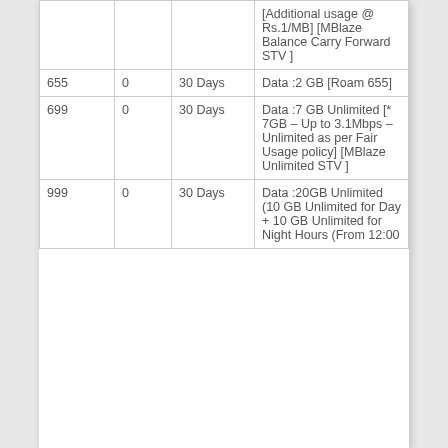| Price | Zero | Validity | Description |
| --- | --- | --- | --- |
|  |  |  | [Additional usage @ Rs.1/MB] [MBlaze Balance Carry Forward STV ] |
| 655 | 0 | 30 Days | Data :2 GB [Roam 655] |
| 699 | 0 | 30 Days | Data :7 GB Unlimited [* 7GB – Up to 3.1Mbps – Unlimited as per Fair Usage policy] [MBlaze Unlimited STV ] |
| 999 | 0 | 30 Days | Data :20GB Unlimited (10 GB Unlimited for Day + 10 GB Unlimited for Night Hours (From 12:00 |